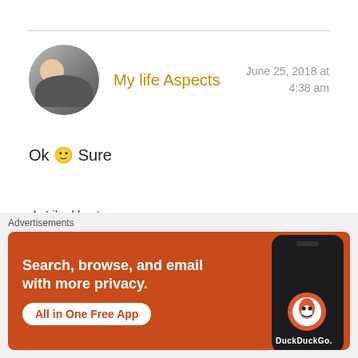My life Aspects
June 25, 2018 at 4:38 am
Ok 🙂 Sure
★ Liked by 1 person
Log in to Reply
[Figure (other): Advertisement banner for DuckDuckGo app: orange background with text 'Search, browse, and email with more privacy. All in One Free App' and a phone image with DuckDuckGo logo]
Advertisements